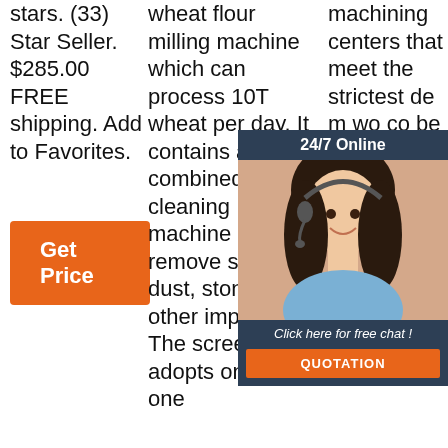stars. (33) Star Seller. $285.00 FREE shipping. Add to Favorites.
[Figure (other): Orange 'Get Price' button]
wheat flour milling machine which can process 10T wheat per day. It contains a combined cleaning machine used to remove straw, dust, stones and other impurities. The screenroom adopts one sifter. one
machining centers that meet the strictest de m wo co be fro of ex extreme personal attention detail and the latest
[Figure (other): 24/7 Online chat widget overlay with woman wearing headset, 'Click here for free chat!' text, and orange QUOTATION button. TOP watermark logo in bottom right.]